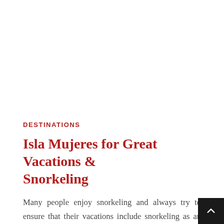DESTINATIONS
Isla Mujeres for Great Vacations & Snorkeling
Many people enjoy snorkeling and always try to ensure that their vacations include snorkeling as an activity. Amateur and experienced snorkelers often search for the best places to explore the